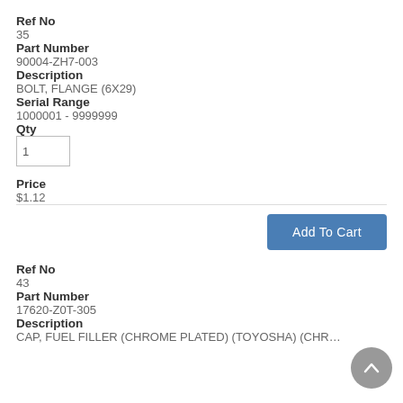Ref No
35
Part Number
90004-ZH7-003
Description
BOLT, FLANGE (6X29)
Serial Range
1000001 - 9999999
Qty
1
Price
$1.12
Add To Cart
Ref No
43
Part Number
17620-Z0T-305
Description
CAP, FUEL FILLER (CHROME PLATED) (TOYOSHA) (CHROME...